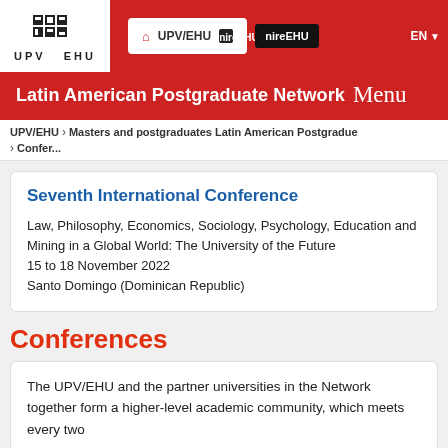UPV EHU | UPV/EHU | nireEHU | EN
Latin American Postgraduate Network Menu
UPV/EHU > Masters and postgraduates Latin American Postgraduate > Confer...
Seventh International Conference
Law, Philosophy, Economics, Sociology, Psychology, Education and Mining in a Global World: The University of the Future
15 to 18 November 2022
Santo Domingo (Dominican Republic)
Conferences
The UPV/EHU and the partner universities in the Network together form a higher-level academic community, which meets every two